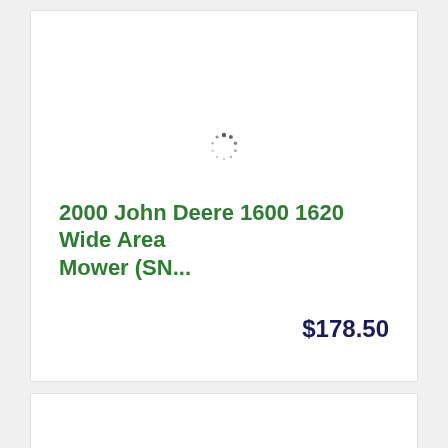[Figure (other): Loading spinner icon (circular dotted spinner) indicating image is loading]
2000 John Deere 1600 1620 Wide Area Mower (SN...
$178.50